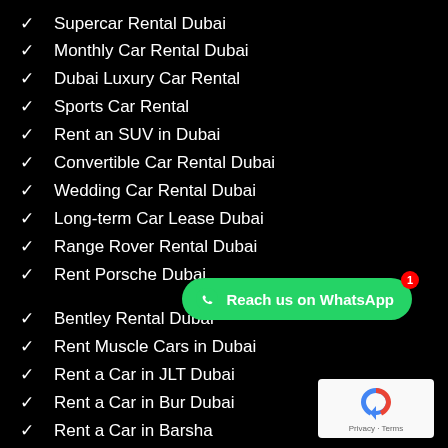Supercar Rental Dubai
Monthly Car Rental Dubai
Dubai Luxury Car Rental
Sports Car Rental
Rent an SUV in Dubai
Convertible Car Rental Dubai
Wedding Car Rental Dubai
Long-term Car Lease Dubai
Range Rover Rental Dubai
Rent Porsche Dubai
Bentley Rental Dubai
Rent Muscle Cars in Dubai
Rent a Car in JLT Dubai
Rent a Car in Bur Dubai
Rent a Car in Barsha
Rent a Car in Deira Dubai
Car Rental in Dubai Marina
Car Rental in Palm Jumeirah